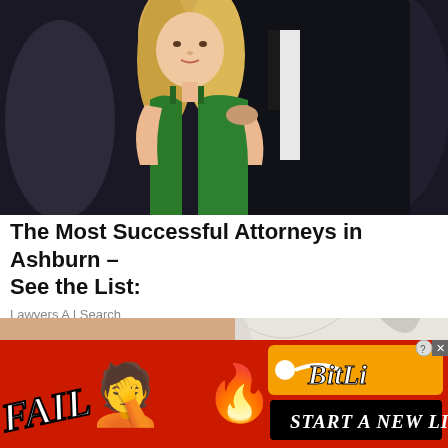[Figure (photo): A blonde woman in a green spaghetti strap dress standing in front of a man in a dark suit, at what appears to be a nightlife event with dark background.]
The Most Successful Attorneys in Ashburn – See the List:
Lawyers A | Search
[Figure (photo): Close-up photo of a hand on a torso/chest area, person wearing a white tank top. Medical or clickbait advertisement image.]
[Figure (screenshot): BitLife mobile game advertisement banner with red background, FAIL text, facepalm emoji, flame, sperm icon graphic, BitLife logo, and START A NEW LIFE button in black on gold/orange and black backgrounds.]